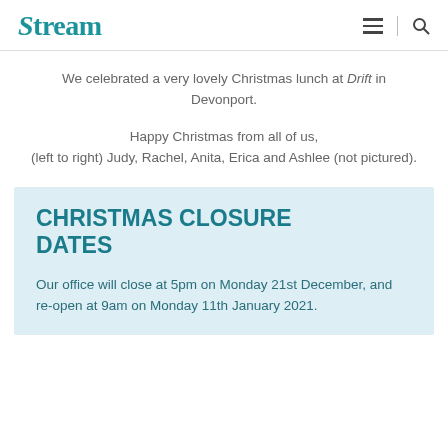Stream
We celebrated a very lovely Christmas lunch at Drift in Devonport.
Happy Christmas from all of us, (left to right) Judy, Rachel, Anita, Erica and Ashlee (not pictured).
CHRISTMAS CLOSURE DATES
Our office will close at 5pm on Monday 21st December, and re-open at 9am on Monday 11th January 2021.